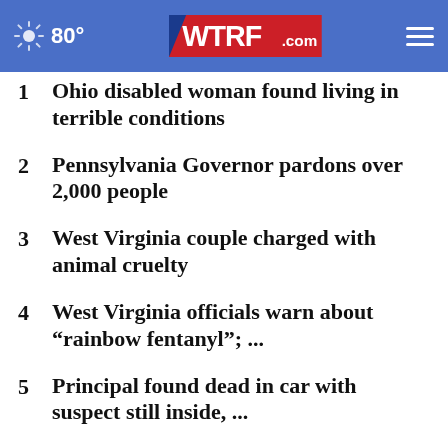80° WTRF.com
1 Ohio disabled woman found living in terrible conditions
2 Pennsylvania Governor pardons over 2,000 people
3 West Virginia couple charged with animal cruelty
4 West Virginia officials warn about “rainbow fentanyl”; ...
5 Principal found dead in car with suspect still inside, ...
6 Ohio teen dies after being shot in the head; 2 arrested ...
7 West Virginia Woman charged after